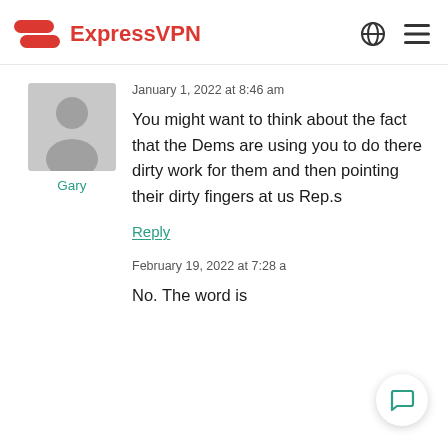ExpressVPN
[Figure (illustration): Generic user avatar silhouette on grey background]
Gary
January 1, 2022 at 8:46 am
You might want to think about the fact that the Dems are using you to do there dirty work for them and then pointing their dirty fingers at us Rep.s
Reply
February 19, 2022 at 7:28 a
No. The word is